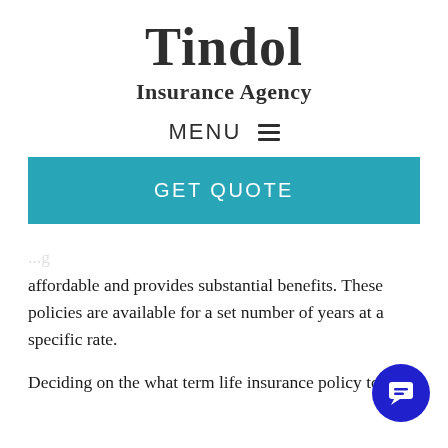Tindol
Insurance Agency
MENU ≡
GET QUOTE
affordable and provides substantial benefits. These policies are available for a set number of years at a specific rate.
Deciding on the what term life insurance policy to